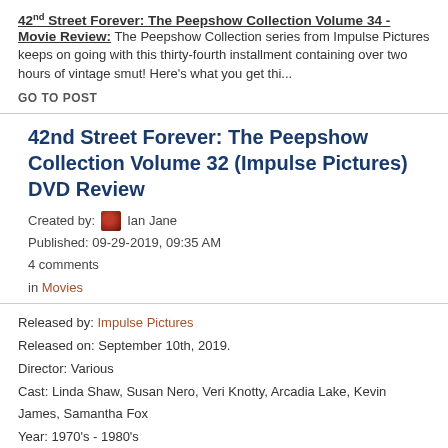42nd Street Forever: The Peepshow Collection Volume 34 - Movie Review: The Peepshow Collection series from Impulse Pictures keeps on going with this thirty-fourth installment containing over two hours of vintage smut! Here's what you get thi...
GO TO POST
42nd Street Forever: The Peepshow Collection Volume 32 (Impulse Pictures) DVD Review
Created by: Ian Jane
Published: 09-29-2019, 09:35 AM
4 comments
in Movies
Released by: Impulse Pictures
Released on: September 10th, 2019.
Director: Various
Cast: Linda Shaw, Susan Nero, Veri Knotty, Arcadia Lake, Kevin James, Samantha Fox
Year: 1970's - 1980's
Purchase From Amazon
42nd Street Forever: The Peepshow Collection Volume 32 - Movie Review: The Peepshow Collection series from Impulse Pictures keeps on going with this thirty-second installment. Here's what you get this time